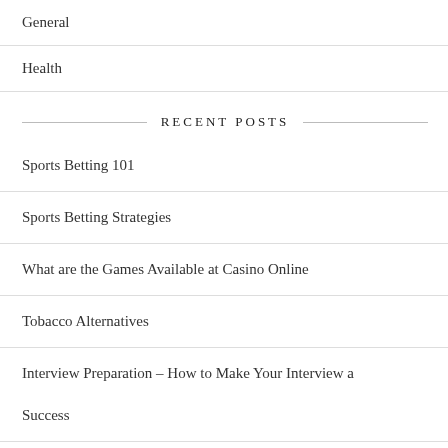General
Health
RECENT POSTS
Sports Betting 101
Sports Betting Strategies
What are the Games Available at Casino Online
Tobacco Alternatives
Interview Preparation – How to Make Your Interview a Success